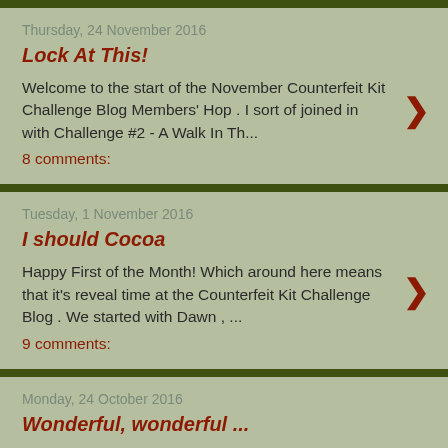Thursday, 24 November 2016
Lock At This!
Welcome to the start of the November Counterfeit Kit Challenge Blog Members' Hop .  I sort of joined in with Challenge #2 - A Walk In Th...
8 comments:
Tuesday, 1 November 2016
I should Cocoa
Happy First of the Month! Which around here means that it's reveal time at the Counterfeit Kit Challenge Blog . We started with Dawn , ...
9 comments:
Monday, 24 October 2016
Wonderful, wonderful ...
Welcome to the final post of the October CKCB Members' Blog Hop; if you didn't reach me from Raelene then you might want